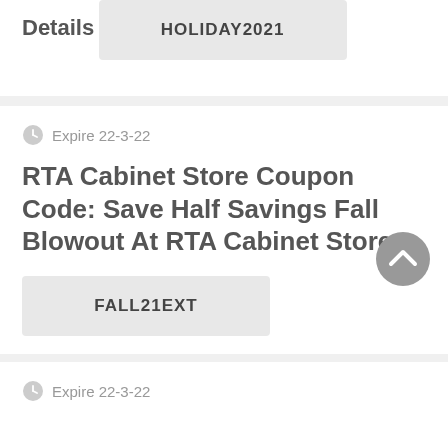Details
HOLIDAY2021
Expire 22-3-22
RTA Cabinet Store Coupon Code: Save Half Savings Fall Blowout At RTA Cabinet Store
FALL21EXT
Expire 22-3-22